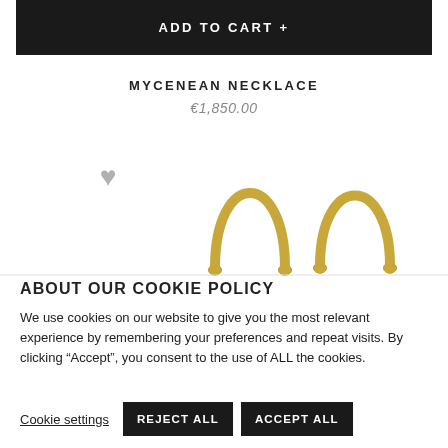ADD TO CART +
MYCENEAN NECKLACE
€1,850.00
[Figure (photo): Gold necklace arches/links on white background, with grey heart icon]
ABOUT OUR COOKIE POLICY
We use cookies on our website to give you the most relevant experience by remembering your preferences and repeat visits. By clicking “Accept”, you consent to the use of ALL the cookies.
Cookie settings   REJECT ALL   ACCEPT ALL